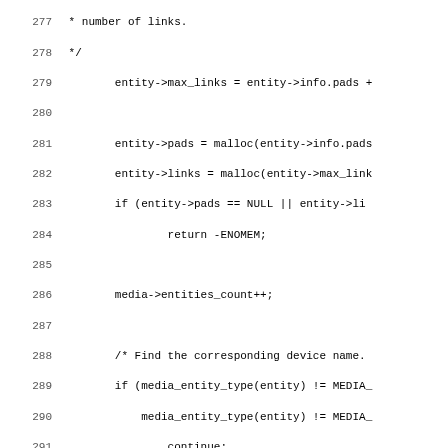Source code listing, lines 277-308, showing C code for media entity processing including malloc, sprintf, readlink, stat calls.